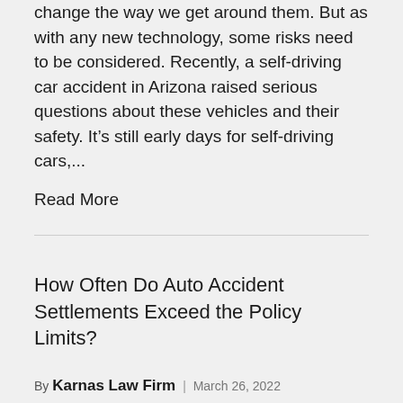change the way we get around them. But as with any new technology, some risks need to be considered. Recently, a self-driving car accident in Arizona raised serious questions about these vehicles and their safety. It's still early days for self-driving cars,...
Read More
How Often Do Auto Accident Settlements Exceed the Policy Limits?
By Karnas Law Firm | March 26, 2022